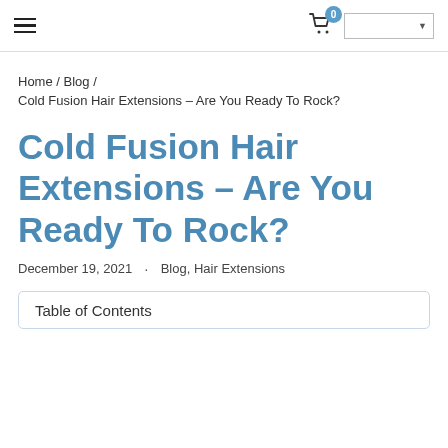≡  [cart icon with badge: 0]  [language selector dropdown]
Home / Blog /
Cold Fusion Hair Extensions – Are You Ready To Rock?
Cold Fusion Hair Extensions – Are You Ready To Rock?
December 19, 2021  ·  Blog, Hair Extensions
Table of Contents